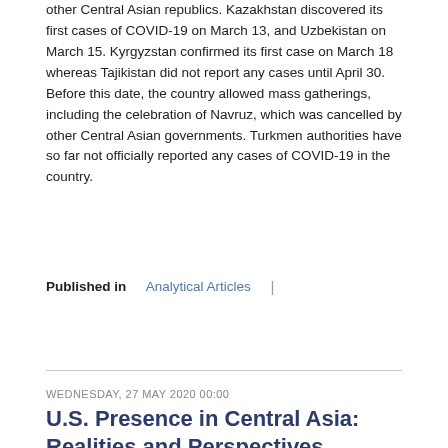other Central Asian republics. Kazakhstan discovered its first cases of COVID-19 on March 13, and Uzbekistan on March 15. Kyrgyzstan confirmed its first case on March 18 whereas Tajikistan did not report any cases until April 30. Before this date, the country allowed mass gatherings, including the celebration of Navruz, which was cancelled by other Central Asian governments. Turkmen authorities have so far not officially reported any cases of COVID-19 in the country.
Published in Analytical Articles |
Read more...
WEDNESDAY, 27 MAY 2020 00:00
U.S. Presence in Central Asia: Realities and Perspectives
By Nurlan Aliyev
May 27, 2020, the CACI Analyst
In early February, U.S. Secretary of State Michael Pompeo visited Kazakhstan and Uzbekistan. He was received by the two heads of states in Nursultan and in Tashkent, Pompeo attended a C5+1 Ministerial with the